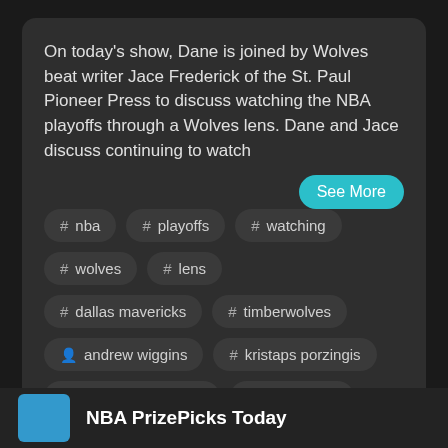On today's show, Dane is joined by Wolves beat writer Jace Frederick of the St. Paul Pioneer Press to discuss watching the NBA playoffs through a Wolves lens. Dane and Jace discuss continuing to watch
# nba
# playoffs
# watching
# wolves
# lens
# dallas mavericks
# timberwolves
👤 andrew wiggins
# kristaps porzingis
👤 spencer dinwiddie
👤 tyus jones
NBA PrizePicks Today